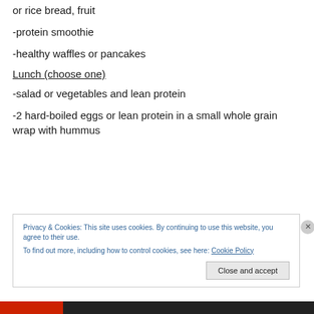or rice bread, fruit
-protein smoothie
-healthy waffles or pancakes
Lunch (choose one)
-salad or vegetables and lean protein
-2 hard-boiled eggs or lean protein in a small whole grain wrap with hummus
Privacy & Cookies: This site uses cookies. By continuing to use this website, you agree to their use.
To find out more, including how to control cookies, see here: Cookie Policy
Close and accept